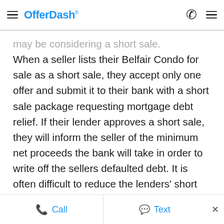OfferDash
may be considering a short sale. When a seller lists their Belfair Condo for sale as a short sale, they accept only one offer and submit it to their bank with a short sale package requesting mortgage debt relief. If their lender approves a short sale, they will inform the seller of the minimum net proceeds the bank will take in order to write off the sellers defaulted debt. It is often difficult to reduce the lenders' short sale
Call   Text